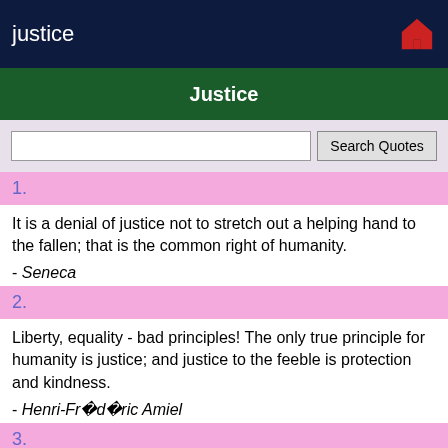justice
Justice
1.
It is a denial of justice not to stretch out a helping hand to the fallen; that is the common right of humanity.
- Seneca
2.
Liberty, equality - bad principles! The only true principle for humanity is justice; and justice to the feeble is protection and kindness.
- Henri-Frédéric Amiel
3.
The price of justice is eternal publicity.